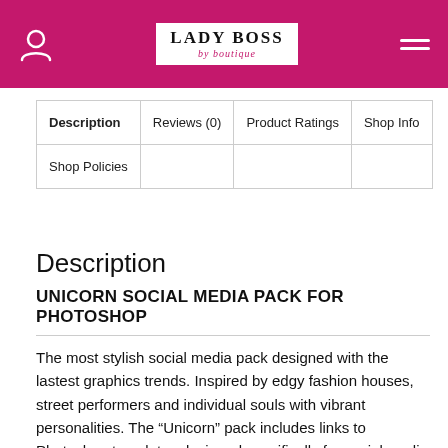Lady Boss by boutique
| Description | Reviews (0) | Product Ratings | Shop Info |
| --- | --- | --- | --- |
| Shop Policies |  |  |  |
Description
UNICORN SOCIAL MEDIA PACK FOR PHOTOSHOP
The most stylish social media pack designed with the lastest graphics trends. Inspired by edgy fashion houses, street performers and individual souls with vibrant personalities. The “Unicorn” pack includes links to Photoshop templates designed specifically for social media channels. Perfect for fashion brands, bloggers, interior designers, artists, musicians and many others. Step up your social game and get your swag on.